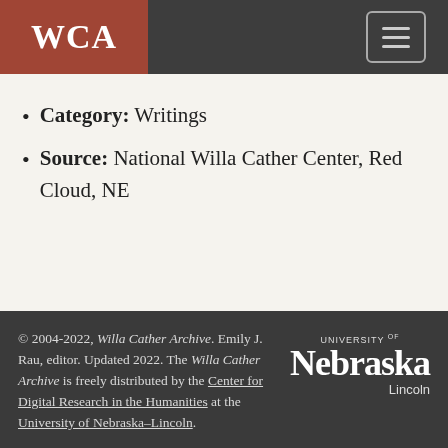WCA
Category: Writings
Source: National Willa Cather Center, Red Cloud, NE
© 2004-2022, Willa Cather Archive. Emily J. Rau, editor. Updated 2022. The Willa Cather Archive is freely distributed by the Center for Digital Research in the Humanities at the University of Nebraska–Lincoln.